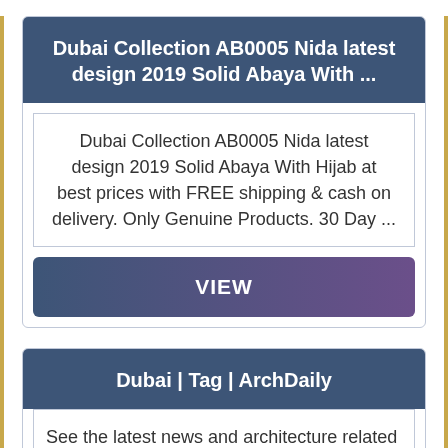Dubai Collection AB0005 Nida latest design 2019 Solid Abaya With ...
Dubai Collection AB0005 Nida latest design 2019 Solid Abaya With Hijab at best prices with FREE shipping & cash on delivery. Only Genuine Products. 30 Day ...
VIEW
Dubai | Tag | ArchDaily
See the latest news and architecture related to Dubai, only on ArchDaily. ... that have become an integral part of contemporary placemaking around the world.